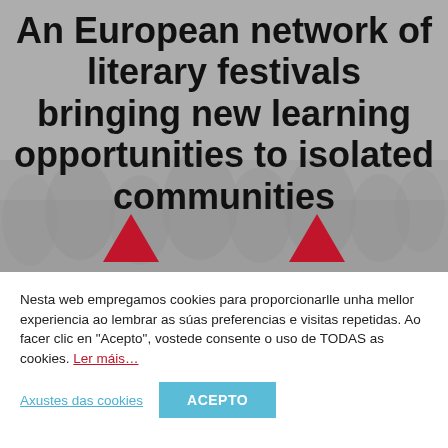[Figure (photo): Grayscale background image of crowd with raised hands, overlaid with large bold black text and two red upward-pointing triangles at the bottom]
An European network of literary festivals bringing new learning opportunities to isolated communities
Nesta web empregamos cookies para proporcionarlle unha mellor experiencia ao lembrar as súas preferencias e visitas repetidas. Ao facer clic en "Acepto", vostede consente o uso de TODAS as cookies. Ler máis…
Axustes das cookies
ACEPTO